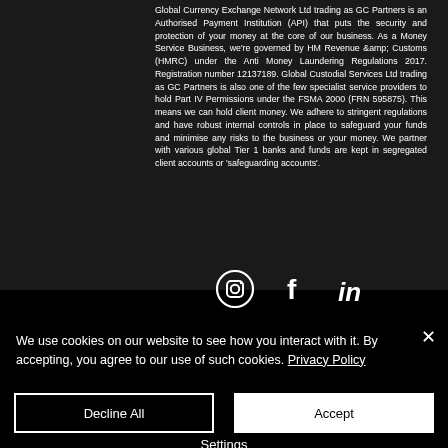Global Currency Exchange Network Ltd trading as GC Partners is an Authorised Payment Institution (API) that puts the security and protection of your money at the core of our business. As a Money Service Business, we're governed by HM Revenue &amp; Customs (HMRC) under the Anti Money Laundering Regulations 2017. Registration number 12137189. Global Custodial Services Ltd trading as GC Partners is also one of the few specialist service providers to hold Part IV Permissions under the FSMA 2000 (FRN 595875). This means we can hold client money. We adhere to stringent regulations and have robust internal controls in place to safeguard your funds and minimise any risks to the business or your money. We partner with various global Tier 1 banks and funds are kept in segregated client accounts or 'safeguarding accounts'.
[Figure (other): Social media icons: Instagram (circle with camera icon), Facebook (f), LinkedIn (in)]
We use cookies on our website to see how you interact with it. By accepting, you agree to our use of such cookies. Privacy Policy
Decline All
Accept
Settings